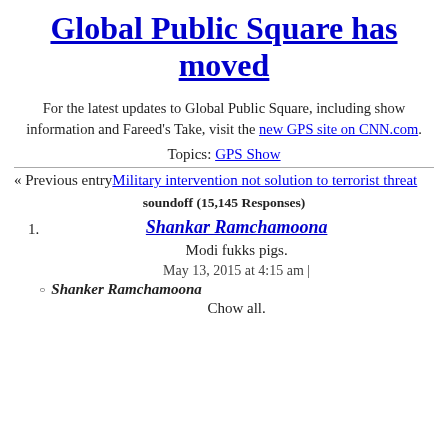Global Public Square has moved
For the latest updates to Global Public Square, including show information and Fareed's Take, visit the new GPS site on CNN.com.
Topics: GPS Show
« Previous entry Military intervention not solution to terrorist threat
soundoff (15,145 Responses)
1. Shankar Ramchamoona
Modi fukks pigs.
May 13, 2015 at 4:15 am | Shanker Ramchamoona
Chow all.